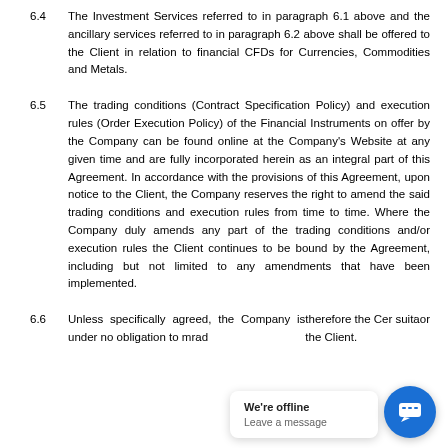6.4  The Investment Services referred to in paragraph 6.1 above and the ancillary services referred to in paragraph 6.2 above shall be offered to the Client in relation to financial CFDs for Currencies, Commodities and Metals.
6.5  The trading conditions (Contract Specification Policy) and execution rules (Order Execution Policy) of the Financial Instruments on offer by the Company can be found online at the Company's Website at any given time and are fully incorporated herein as an integral part of this Agreement. In accordance with the provisions of this Agreement, upon notice to the Client, the Company reserves the right to amend the said trading conditions and execution rules from time to time. Where the Company duly amends any part of the trading conditions and/or execution rules the Client continues to be bound by the Agreement, including but not limited to any amendments that have been implemented.
6.6  Unless specifically agreed, the Company is under no obligation to monitor or advise the Client on the status of any Transaction, therefore the Client acknowledges that whether or not a Transaction is suitable for the Client.